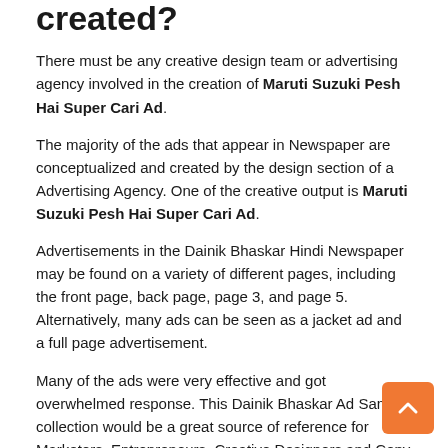created?
There must be any creative design team or advertising agency involved in the creation of Maruti Suzuki Pesh Hai Super Cari Ad.
The majority of the ads that appear in Newspaper are conceptualized and created by the design section of a Advertising Agency. One of the creative output is Maruti Suzuki Pesh Hai Super Cari Ad.
Advertisements in the Dainik Bhaskar Hindi Newspaper may be found on a variety of different pages, including the front page, back page, page 3, and page 5. Alternatively, many ads can be seen as a jacket ad and a full page advertisement.
Many of the ads were very effective and got overwhelmed response. This Dainik Bhaskar Ad Sample collection would be a great source of reference for Marketers, Entrepreneurs, Creative Designers and Copy Writers. Advertising in Dainik Bhaskar newspaper is a good source to reach to wide audience. It has good readership among all newspapers. It covers spending readers who generally take action after reading advertisements.